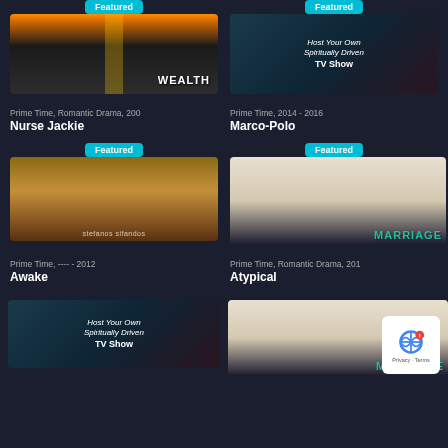[Figure (photo): Road leading to sunset with text WEALTH overlay, Nurse Jackie show card]
Prime Time, Romantic Drama, 200
Nurse Jackie
[Figure (photo): Couple close together, Host Your Own Spiritually Driven TV Show, Marco-Polo show card]
Prime Time, 2014 - 2016
Marco-Polo
[Figure (photo): Man in blue shirt, Stefanos Sifandos, Awake show card]
Prime Time, ---- - 2012
Awake
[Figure (photo): MARRIAGE text with person running, Atypical show card]
Prime Time, Romantic Drama, 201
Atypical
[Figure (photo): Bottom left: Host Your Own Spiritually Driven TV Show image]
[Figure (photo): Bottom right: MARRIAGE image with Privacy widget overlay]